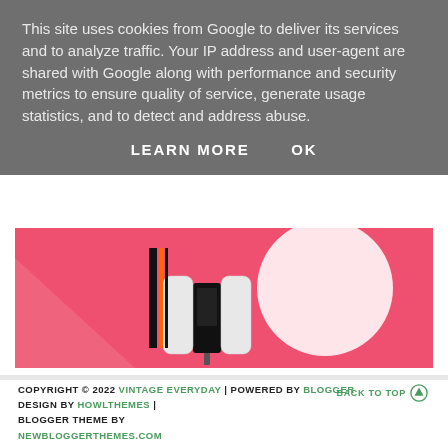This site uses cookies from Google to deliver its services and to analyze traffic. Your IP address and user-agent are shared with Google along with performance and security metrics to ensure quality of service, generate usage statistics, and to detect and address abuse.
LEARN MORE   OK
[Figure (photo): Pink banner image showing Nintendo Switch OLED console and controllers with a white circle backdrop]
COPYRIGHT © 2022 VINTAGE EVERYDAY | POWERED BY BLOGGER
DESIGN BY HOWLTHEMES | BLOGGER THEME BY NEWBLOGGERTHEMES.COM
BACK TO TOP ↑